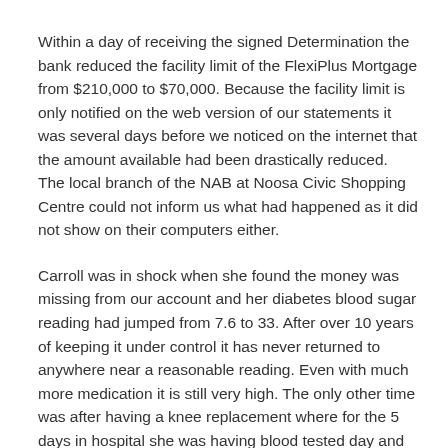Within a day of receiving the signed Determination the bank reduced the facility limit of the FlexiPlus Mortgage from $210,000 to $70,000. Because the facility limit is only notified on the web version of our statements it was several days before we noticed on the internet that the amount available had been drastically reduced. The local branch of the NAB at Noosa Civic Shopping Centre could not inform us what had happened as it did not show on their computers either.
Carroll was in shock when she found the money was missing from our account and her diabetes blood sugar reading had jumped from 7.6 to 33. After over 10 years of keeping it under control it has never returned to anywhere near a reasonable reading. Even with much more medication it is still very high. The only other time was after having a knee replacement where for the 5 days in hospital she was having blood tested day and night and having insulation injected into her stomach repeatedly. Her whole health - 9 serious auto immune syndromes/diseases have developed and worsened